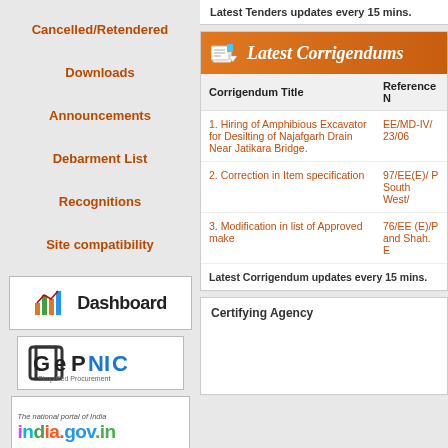Cancelled/Retendered
Downloads
Announcements
Debarment List
Recognitions
Site compatibility
[Figure (screenshot): Dashboard logo box with bar chart icon and 'Dashboard' text]
[Figure (logo): GePNIC Simplified Procurement logo]
[Figure (logo): india.gov.in - The national portal of India logo]
[Figure (logo): delhi.gov.in - Government of NCT of Delhi logo]
Latest Tenders updates every 15 mins.
Latest Corrigendums
| Corrigendum Title | Reference N |
| --- | --- |
| 1. Hiring of Amphibious Excavator for Desilting of Najafgarh Drain Near Jatikara Bridge. | EE/MD-IV/23/06 |
| 2. Correction in Item specification | 97/EE(E)/ P South West/ |
| 3. Modification in list of Approved make | 76/EE (E)/P and Shah. E |
Latest Corrigendum updates every 15 mins.
Certifying Agency